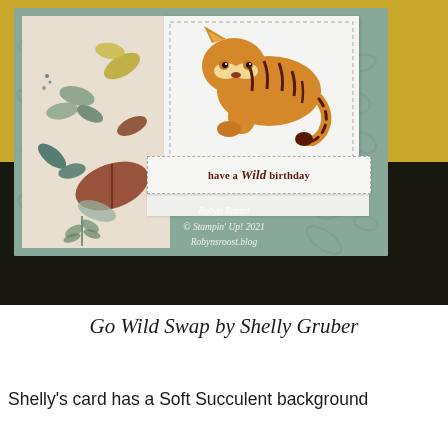[Figure (photo): A handmade birthday card featuring a tiger die-cut on a white panel, with a botanical patterned paper layer and teal embossed background. A sentiment banner reads 'have a Wild birthday'. Watermark text reads 'Robyn Rasset © Stampin' Up! 2021 Robynsroost.blog'.]
Go Wild Swap by Shelly Gruber
Shelly's card has a Soft Succulent background that covers the entire background panel.